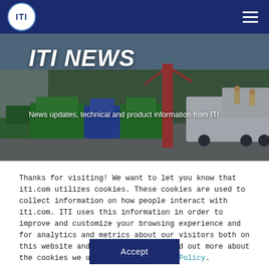[Figure (photo): ITI logo circle with white background and blue ITI text, in nav bar]
[Figure (photo): Hero banner image showing outdoor crane training area with green rigging equipment, cranes, truck, and workers in safety vests. Navy blue overlay.]
ITI NEWS
News updates, technical and product information from ITI
Thanks for visiting! We want to let you know that iti.com utilizes cookies. These cookies are used to collect information on how people interact with iti.com. ITI uses this information in order to improve and customize your browsing experience and for analytics and metrics about our visitors both on this website and other media. To find out more about the cookies we use, see our Privacy Policy.
Accept